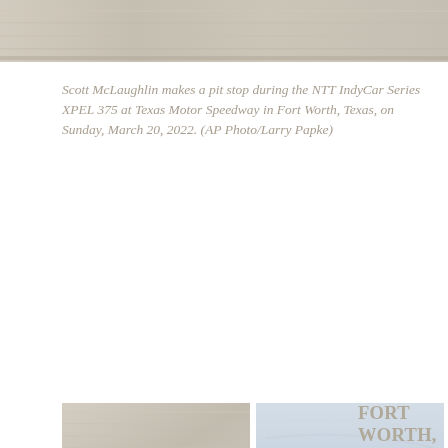[Figure (photo): Top banner photo: IndyCar race scene at Texas Motor Speedway, faded/light treatment]
Scott McLaughlin makes a pit stop during the NTT IndyCar Series XPEL 375 at Texas Motor Speedway in Fort Worth, Texas, on Sunday, March 20, 2022. (AP Photo/Larry Papke)
[Figure (photo): Top-left grid photo: IndyCar race scene, faded treatment]
[Figure (photo): Top-right grid photo: Aerial view of Texas Motor Speedway track, faded light blue treatment]
FORT WORTH, Texas (AP) — Roger Penske met Josef
[Figure (photo): Middle-left grid photo: Pit crew working on IndyCar, faded treatment]
[Figure (photo): Middle-right grid photo: IndyCar on track, faded light blue treatment]
[Figure (photo): Bottom-left grid photo: Texas Motor Speedway signage and car, faded treatment]
[Figure (photo): Bottom-right grid photo: IndyCar race action, faded treatment]